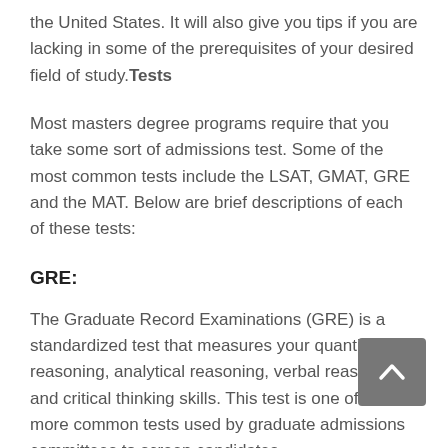the United States. It will also give you tips if you are lacking in some of the prerequisites of your desired field of study.Tests
Most masters degree programs require that you take some sort of admissions test. Some of the most common tests include the LSAT, GMAT, GRE and the MAT. Below are brief descriptions of each of these tests:
GRE:
The Graduate Record Examinations (GRE) is a standardized test that measures your quantitative reasoning, analytical reasoning, verbal reasoning and critical thinking skills. This test is one of the more common tests used by graduate admissions committees to screen candidates.